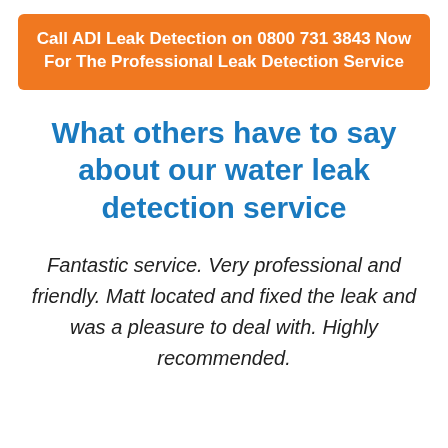Call ADI Leak Detection on 0800 731 3843 Now For The Professional Leak Detection Service
What others have to say about our water leak detection service
Fantastic service. Very professional and friendly. Matt located and fixed the leak and was a pleasure to deal with. Highly recommended.